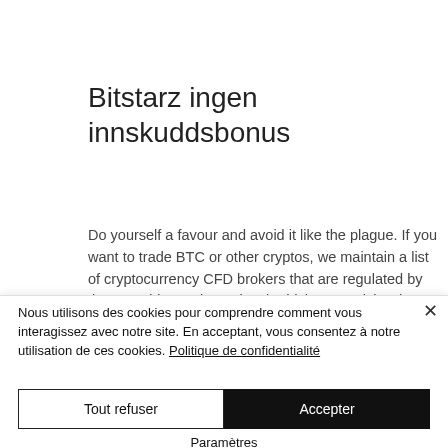Bitstarz ingen innskuddsbonus
Do yourself a favour and avoid it like the plague. If you want to trade BTC or other cryptos, we maintain a list of cryptocurrency CFD brokers that are regulated by the FCA, bitstarz ingen innskuddsbonus. Richard founded the Good Money Guide (previously
Nous utilisons des cookies pour comprendre comment vous interagissez avec notre site. En acceptant, vous consentez à notre utilisation de ces cookies. Politique de confidentialité
Tout refuser
Accepter
Paramètres